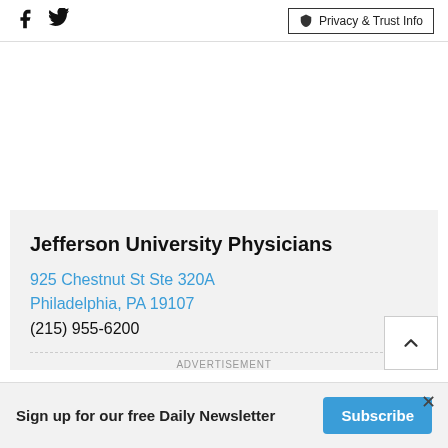Facebook Twitter  Privacy & Trust Info
Jefferson University Physicians
925 Chestnut St Ste 320A
Philadelphia, PA 19107
(215) 955-6200
ADVERTISEMENT
Sign up for our free Daily Newsletter Subscribe